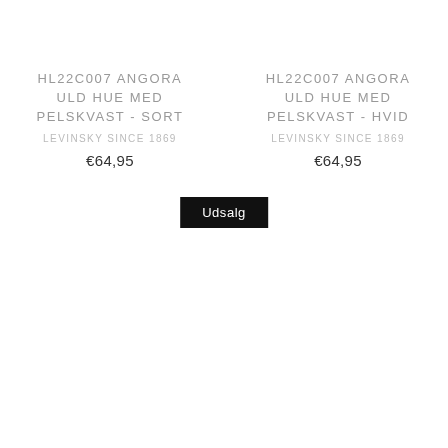HL22C007 ANGORA ULD HUE MED PELSKVAST - SORT
LEVINSKY SINCE 1869
€64,95
HL22C007 ANGORA ULD HUE MED PELSKVAST - HVID
LEVINSKY SINCE 1869
€64,95
Udsalg